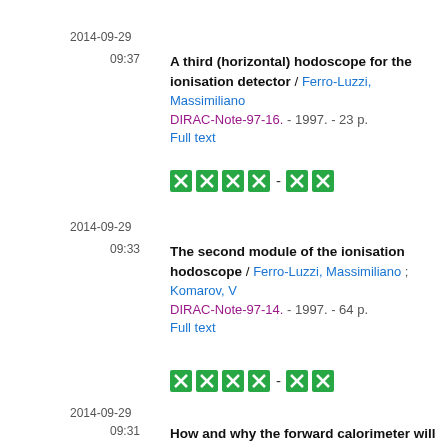2014-09-29
09:37
A third (horizontal) hodoscope for the ionisation detector / Ferro-Luzzi, Massimiliano
DIRAC-Note-97-16. - 1997. - 23 p.
Full text
[Figure (other): Four green icon boxes - four green icon boxes pagination control]
2014-09-29
09:33
The second module of the ionisation hodoscope / Ferro-Luzzi, Massimiliano ; Komarov, V
DIRAC-Note-97-14. - 1997. - 64 p.
Full text
[Figure (other): Four green icon boxes - four green icon boxes pagination control]
2014-09-29
09:31
How and why the forward calorimeter will benefit from TDCs / Drijard, D ; Ferro-Luzzi,